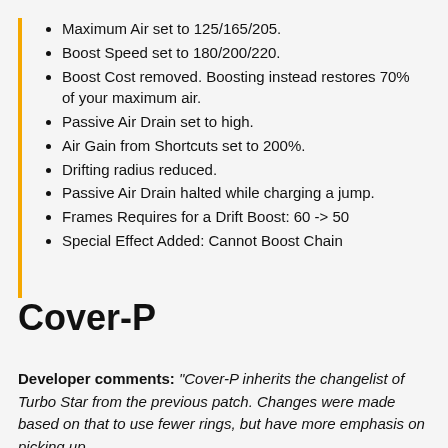Maximum Air set to 125/165/205.
Boost Speed set to 180/200/220.
Boost Cost removed. Boosting instead restores 70% of your maximum air.
Passive Air Drain set to high.
Air Gain from Shortcuts set to 200%.
Drifting radius reduced.
Passive Air Drain halted while charging a jump.
Frames Requires for a Drift Boost: 60 -> 50
Special Effect Added: Cannot Boost Chain
Cover-P
Developer comments: “Cover-P inherits the changelist of Turbo Star from the previous patch. Changes were made based on that to use fewer rings, but have more emphasis on picking up